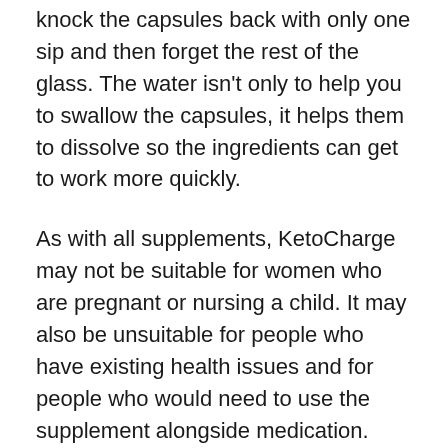knock the capsules back with only one sip and then forget the rest of the glass. The water isn't only to help you to swallow the capsules, it helps them to dissolve so the ingredients can get to work more quickly.
As with all supplements, KetoCharge may not be suitable for women who are pregnant or nursing a child. It may also be unsuitable for people who have existing health issues and for people who would need to use the supplement alongside medication.
If you are unsure if KetoCharge is a suitable option for you, it's best to consult a physician and get some expert medical advice. It's a good idea to do this before embarking on any new weight loss or